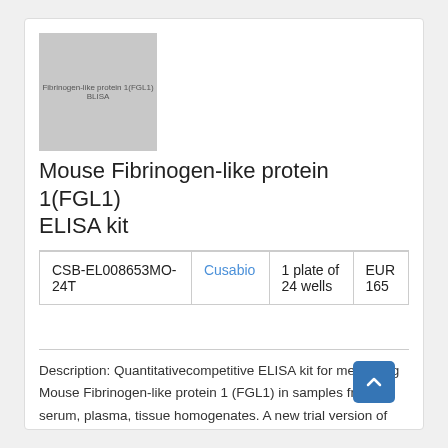[Figure (photo): Product image placeholder showing text 'Fibrinogen-like protein 1(FGL1) BLISA' on a gray background]
Mouse Fibrinogen-like protein 1(FGL1) ELISA kit
| CSB-EL008653MO-24T | Cusabio | 1 plate of 24 wells | EUR 165 |
Description: Quantitativecompetitive ELISA kit for measuring Mouse Fibrinogen-like protein 1 (FGL1) in samples from serum, plasma, tissue homogenates. A new trial version of the kit, which allows you to test the kit in your application at a reasonable price.